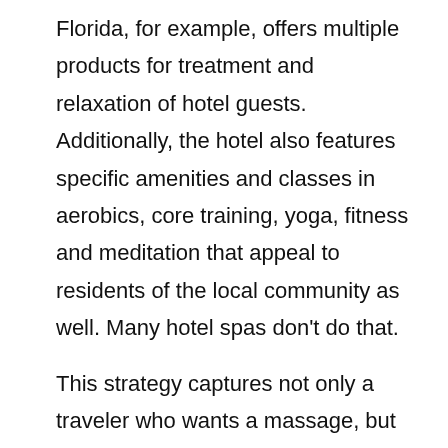Florida, for example, offers multiple products for treatment and relaxation of hotel guests. Additionally, the hotel also features specific amenities and classes in aerobics, core training, yoga, fitness and meditation that appeal to residents of the local community as well. Many hotel spas don't do that.
This strategy captures not only a traveler who wants a massage, but also a local user who has the potential for higher frequency of use. In Bal Harbour, many nearby residents come in regularly for those classes during the week and then